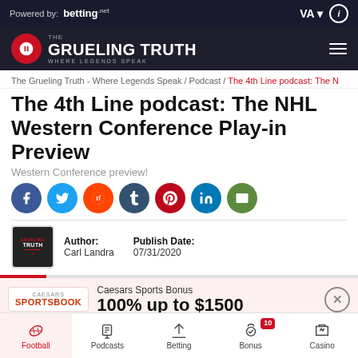Powered by: betting.net | VA | i
[Figure (logo): The Grueling Truth logo with microphone icon and hamburger menu]
The Grueling Truth - Where Legends Speak / Podcast / The 4th Line podcast: The N
The 4th Line podcast: The NHL Western Conference Play-in Preview
Western Conference preview!
[Figure (infographic): Social media share icons: Facebook, Twitter, Reddit, Tumblr, Pinterest, LinkedIn, Email]
Author: Carl Landra | Publish Date: 07/31/2020
[Figure (infographic): Caesars Sportsbook promo: 100% up to $1500]
Football | Podcasts | Betting | Bonus 10 | Casino